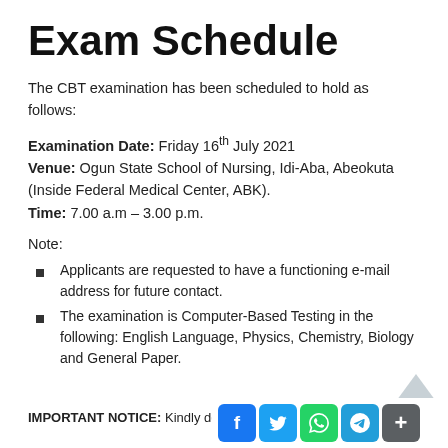Exam Schedule
The CBT examination has been scheduled to hold as follows:
Examination Date: Friday 16th July 2021
Venue: Ogun State School of Nursing, Idi-Aba, Abeokuta (Inside Federal Medical Center, ABK).
Time: 7.00 a.m – 3.00 p.m.
Note:
Applicants are requested to have a functioning e-mail address for future contact.
The examination is Computer-Based Testing in the following: English Language, Physics, Chemistry, Biology and General Paper.
IMPORTANT NOTICE: Kindly d...e y... p...